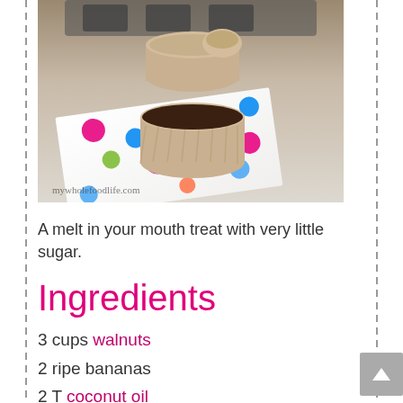[Figure (photo): Stacked walnut banana muffin cups on a colorful polka dot napkin, with watermark 'mywholefoodlife.com']
A melt in your mouth treat with very little sugar.
Ingredients
3 cups walnuts
2 ripe bananas
2 T coconut oil
3 T maple syrup
1 tsp cinnamon